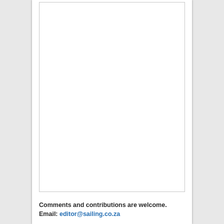[Figure (other): Large blank/empty image placeholder area with a light grey border]
Comments and contributions are welcome. Email: editor@sailing.co.za